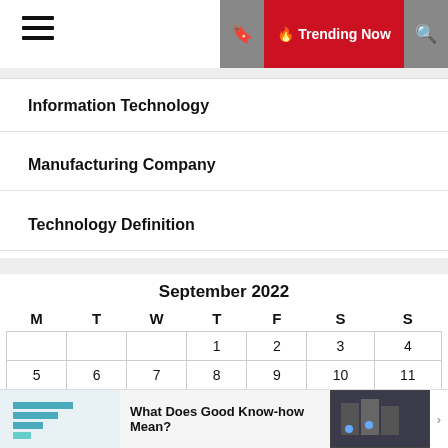Trending Now
Information Technology
Manufacturing Company
Technology Definition
| M | T | W | T | F | S | S |
| --- | --- | --- | --- | --- | --- | --- |
|  |  |  | 1 | 2 | 3 | 4 |
| 5 | 6 | 7 | 8 | 9 | 10 | 11 |
| 12 | 13 | 14 | 15 | 16 | 17 | 18 |
What Does Good Know-how Mean?